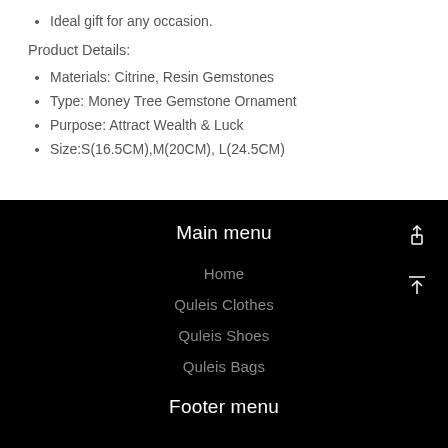Ideal gift for any occasion.
Product Details:
Materials: Citrine, Resin Gemstones
Type: Money Tree Gemstone Ornament
Purpose: Attract Wealth & Luck
Size:S(16.5CM),M(20CM), L(24.5CM)
Main menu
Home
Quleis Clothes
Quleis Shoes
Quleis Bags
Footer menu